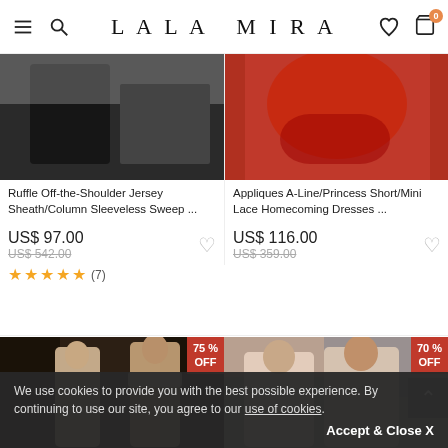LALA MIRA
[Figure (photo): Black dress — Ruffle off-shoulder product photo]
Ruffle Off-the-Shoulder Jersey Sheath/Column Sleeveless Sweep ...
US$ 97.00
US$ 542.00
★★★★★ (7)
[Figure (photo): Red lace homecoming dress product photo]
Appliques A-Line/Princess Short/Mini Lace Homecoming Dresses ...
US$ 116.00
US$ 359.00
[Figure (photo): Beaded halter prom dress — front and back view, 75% OFF badge]
[Figure (photo): Sequin mermaid dress — two women, 70% OFF badge]
We use cookies to provide you with the best possible experience. By continuing to use our site, you agree to our use of cookies.
Accept & Close X